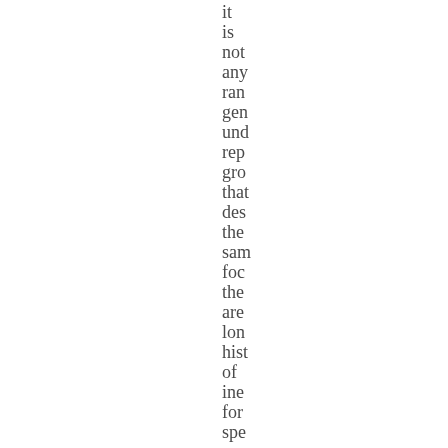it is not any ran gen und rep gro that des the sam foc the are lon hist of ine for spe gro that